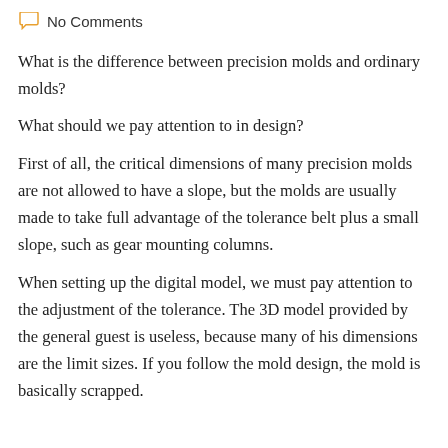No Comments
What is the difference between precision molds and ordinary molds?
What should we pay attention to in design?
First of all, the critical dimensions of many precision molds are not allowed to have a slope, but the molds are usually made to take full advantage of the tolerance belt plus a small slope, such as gear mounting columns.
When setting up the digital model, we must pay attention to the adjustment of the tolerance. The 3D model provided by the general guest is useless, because many of his dimensions are the limit sizes. If you follow the mold design, the mold is basically scrapped.